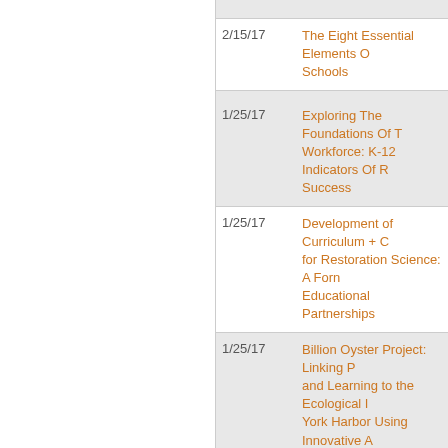| Date | Title |
| --- | --- |
| 2/15/17 | The Eight Essential Elements Of Schools |
| 1/25/17 | Exploring The Foundations Of The Workforce: K-12 Indicators Of R Success |
| 1/25/17 | Development of Curriculum + C for Restoration Science: A Form Educational Partnerships |
| 1/25/17 | Billion Oyster Project: Linking P and Learning to the Ecological R York Harbor Using Innovative A Environmental and Digital Tech |
| 1/11/17 | STEMulating Interest: A Meta-A of Out-of-School Time on Stude |
| 1/11/17 | Infrastructures to Support Equi |